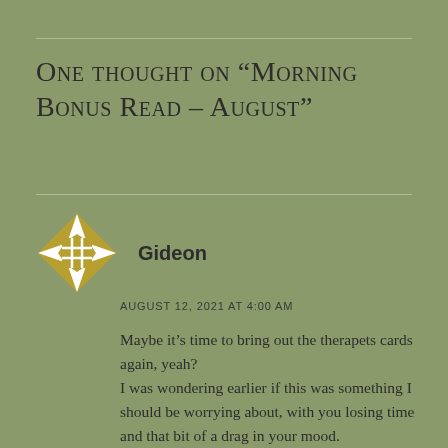One thought on “Morning Bonus Read – August”
[Figure (illustration): Golden geometric avatar icon with compass/diamond shape and grid pattern in center, white and gold colors on sage green background]
Gideon
AUGUST 12, 2021 AT 4:00 AM
Maybe it’s time to bring out the therapets cards again, yeah? I was wondering earlier if this was something I should be worrying about, with you losing time and that bit of a drag in your mood.